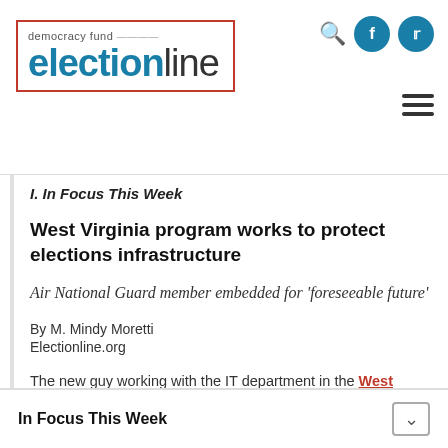democracy fund electionline
I. In Focus This Week
West Virginia program works to protect elections infrastructure
Air National Guard member embedded for 'foreseeable future'
By M. Mindy Moretti
Electionline.org
The new guy working with the IT department in the West Virginia Secretary of State's office doesn't look
In Focus This Week